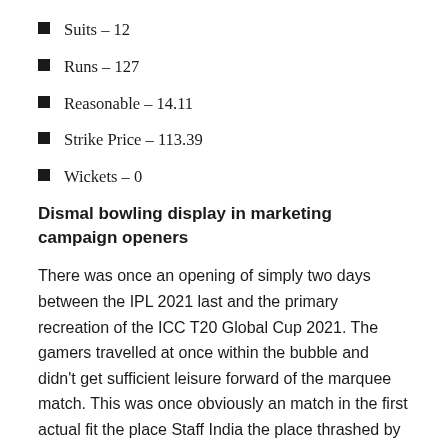Suits – 12
Runs – 127
Reasonable – 14.11
Strike Price – 113.39
Wickets – 0
Dismal bowling display in marketing campaign openers
There was once an opening of simply two days between the IPL 2021 last and the primary recreation of the ICC T20 Global Cup 2021. The gamers travelled at once within the bubble and didn't get sufficient leisure forward of the marquee match. This was once obviously an match in the first actual fit the place Staff India the place thrashed by means of Pakistan by means of 10 wickets. India's star-studded bowling lineup of Jasprit Bumrah, Mohammed Shami and Bhuvneshwar Kumar didn't take a